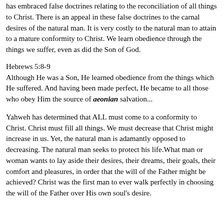has embraced false doctrines relating to the reconciliation of all things to Christ. There is an appeal in these false doctrines to the carnal desires of the natural man. It is very costly to the natural man to attain to a mature conformity to Christ. We learn obedience through the things we suffer, even as did the Son of God.
Hebrews 5:8-9
Although He was a Son, He learned obedience from the things which He suffered. And having been made perfect, He became to all those who obey Him the source of aeonian salvation...
Yahweh has determined that ALL must come to a conformity to Christ. Christ must fill all things. We must decrease that Christ might increase in us. Yet, the natural man is adamantly opposed to decreasing. The natural man seeks to protect his life.What man or woman wants to lay aside their desires, their dreams, their goals, their comfort and pleasures, in order that the will of the Father might be achieved? Christ was the first man to ever walk perfectly in choosing the will of the Father over His own soul's desire.